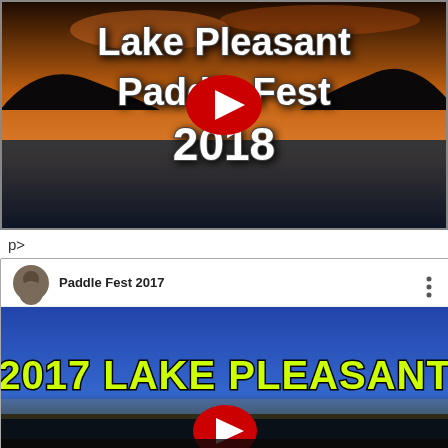[Figure (screenshot): YouTube video thumbnail for Lake Pleasant Paddle Fest 2018. Dark lake/sunset background with stylized white text reading 'Lake Pleasant Paddle Fest 2018' and a red YouTube play button in the center.]
p>
[Figure (screenshot): YouTube video embed for Paddle Fest 2017. Shows a YouTube player with channel avatar, channel name 'Paddle Fest 2017', three-dot menu, and a video thumbnail with blue sky and yellow outlined text '2017 LAKE PLEASANT' with a red YouTube play button at the bottom center.]